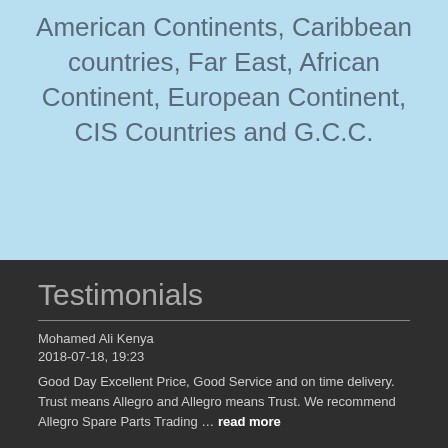American Continents, Caribbean countries, Far East, African Continent, European Continent, CIS Countries and G.C.C.
Testimonials
Mohamed Ali Kenya
2018-07-18, 19:23
Good Day Excellent Price, Good Service and on time delivery. Trust means Allegro and Allegro means Trust. We recommend Allegro Spare Parts Trading … read more